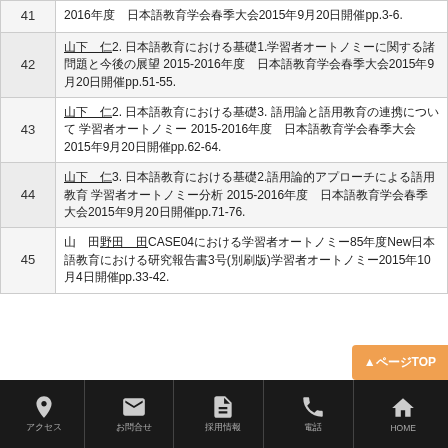| No. | Reference |
| --- | --- |
| 41 | 2016年度　日本語教育学会春季大会2015年9月20日開催pp.3-6. |
| 42 | 山下　仁2. 日本語教育における基礎1.学習者オートノミーに関する諸問題と今後の展望 2015-2016年度　日本語教育学会春季大会2015年9月20日開催pp.51-55. |
| 43 | 山下　仁2. 日本語教育における基礎3. 語用論と語用教育の連携について 学習者オートノミー 2015-2016年度　日本語教育学会春季大会2015年9月20日開催pp.62-64. |
| 44 | 山下　仁3. 日本語教育における基礎2.語用論的アプローチによる語用教育 学習者オートノミー分析 2015-2016年度　日本語教育学会春季大会2015年9月20日開催pp.71-76. |
| 45 | 山　田野田　田CASE04における学習者オートノミー85年度New日本語教育における研究報告書3号(別刷版)学習者オートノミー2015年10月4日開催pp.33-42. |
アクセス　お問合せ　採用情報　電話　HOME